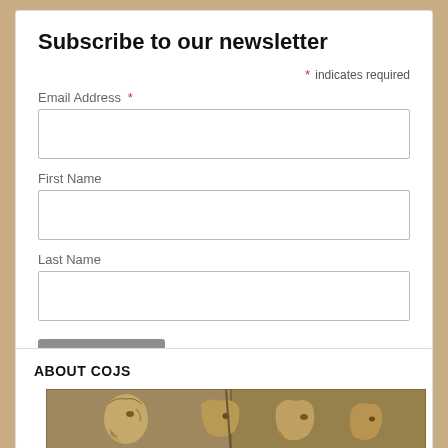Subscribe to our newsletter
* indicates required
Email Address *
First Name
Last Name
Subscribe
ABOUT COJS
[Figure (photo): Ancient stone relief carving showing figures in profile, archaeological artifact]